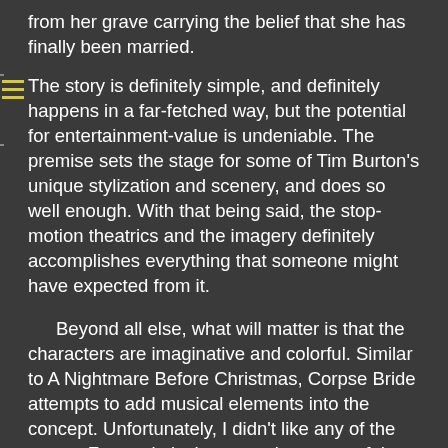from her grave carrying the belief that she has finally been married.
The story is definitely simple, and definitely happens in a far-fetched way, but the potential for entertainment-value is undeniable. The premise sets the stage for some of Tim Burton's unique stylization and scenery, and does so well enough. With that being said, the stop-motion theatrics and the imagery definitely accomplishes everything that someone might have expected from it.
Beyond all else, what will matter is that the characters are imaginative and colorful. Similar to A Nightmare Before Christmas, Corpse Bride attempts to add musical elements into the concept. Unfortunately, I didn't like any of the songs. From a lyrical perspective, none of them are memorable, but